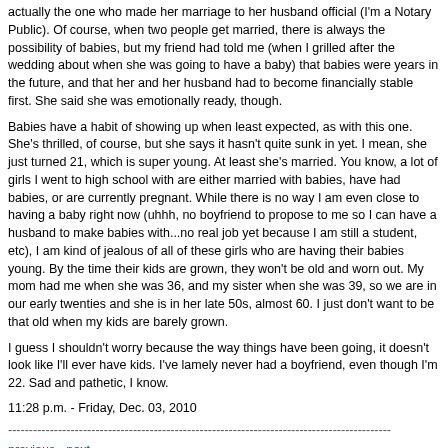actually the one who made her marriage to her husband official (I'm a Notary Public). Of course, when two people get married, there is always the possibility of babies, but my friend had told me (when I grilled after the wedding about when she was going to have a baby) that babies were years in the future, and that her and her husband had to become financially stable first. She said she was emotionally ready, though.
Babies have a habit of showing up when least expected, as with this one. She's thrilled, of course, but she says it hasn't quite sunk in yet. I mean, she just turned 21, which is super young. At least she's married. You know, a lot of girls I went to high school with are either married with babies, have had babies, or are currently pregnant. While there is no way I am even close to having a baby right now (uhhh, no boyfriend to propose to me so I can have a husband to make babies with...no real job yet because I am still a student, etc), I am kind of jealous of all of these girls who are having their babies young. By the time their kids are grown, they won't be old and worn out. My mom had me when she was 36, and my sister when she was 39, so we are in our early twenties and she is in her late 50s, almost 60. I just don't want to be that old when my kids are barely grown.
I guess I shouldn't worry because the way things have been going, it doesn't look like I'll ever have kids. I've lamely never had a boyfriend, even though I'm 22. Sad and pathetic, I know.
11:28 p.m. - Friday, Dec. 03, 2010
--------------------------------------------------------------------------------------------
previous - next